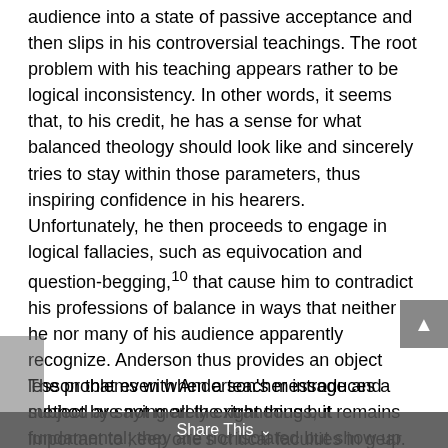audience into a state of passive acceptance and then slips in his controversial teachings. The root problem with his teaching appears rather to be logical inconsistency. In other words, it seems that, to his credit, he has a sense for what balanced theology should look like and sincerely tries to stay within those parameters, thus inspiring confidence in his hearers. Unfortunately, he then proceeds to engage in logical fallacies, such as equivocation and question-begging,10 that cause him to contradict his professions of balance in ways that neither he nor many of his audience apparently recognize. Anderson thus provides an object lesson that even when a teacher introduces a subject by saying all the right things, it remains important to keep one's critical faculties in gear.
The problems with Anderson's message and method are not merely extraneous but fundamental; they are not isolated but show up frequently in each of his books. His message is essentially comprised of his teachings on sanctification (as originally set forth in Victory over the Darkness) and spiritual